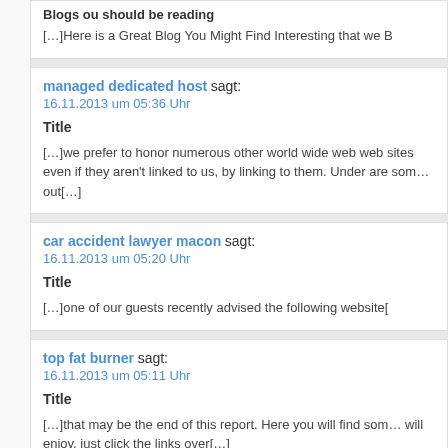Blogs ou should be reading
[...]Here is a Great Blog You Might Find Interesting that we B
managed dedicated host sagt: 16.11.2013 um 05:36 Uhr
Title
[...]we prefer to honor numerous other world wide web web sites even if they aren't linked to us, by linking to them. Under are some webpages worth checking out[...]
car accident lawyer macon sagt: 16.11.2013 um 05:20 Uhr
Title
[...]one of our guests recently advised the following website[
top fat burner sagt: 16.11.2013 um 05:11 Uhr
Title
[...]that may be the end of this report. Here you will find some sites that we think you will enjoy, just click the links over[...]